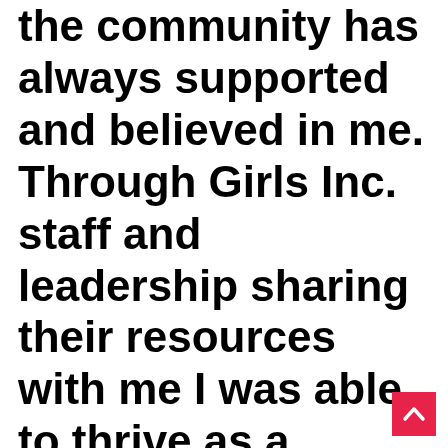the community has always supported and believed in me. Through Girls Inc. staff and leadership sharing their resources with me I was able to thrive as a young girl and now as